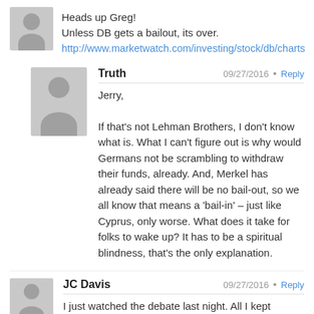Heads up Greg!
Unless DB gets a bailout, its over.
http://www.marketwatch.com/investing/stock/db/charts
Truth
09/27/2016 · Reply
Jerry,
If that's not Lehman Brothers, I don't know what is. What I can't figure out is why would Germans not be scrambling to withdraw their funds, already. And, Merkel has already said there will be no bail-out, so we all know that means a 'bail-in' – just like Cyprus, only worse. What does it take for folks to wake up? It has to be a spiritual blindness, that's the only explanation.
JC Davis
09/27/2016 · Reply
I just watched the debate last night. All I kept thinking is what...